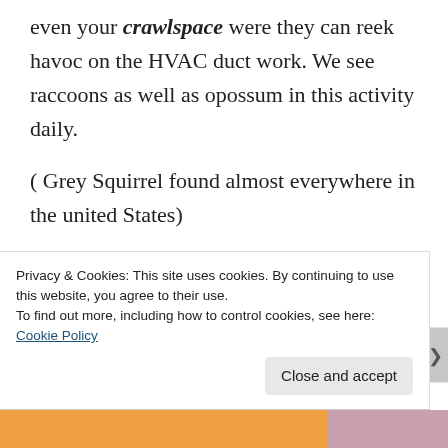even your crawlspace were they can reek havoc on the HVAC duct work. We see raccoons as well as opossum in this activity daily.
( Grey Squirrel found almost everywhere in the united States)
Squirrels in the attic chimney soffit and walls scratching can be
Privacy & Cookies: This site uses cookies. By continuing to use this website, you agree to their use.
To find out more, including how to control cookies, see here: Cookie Policy
Close and accept